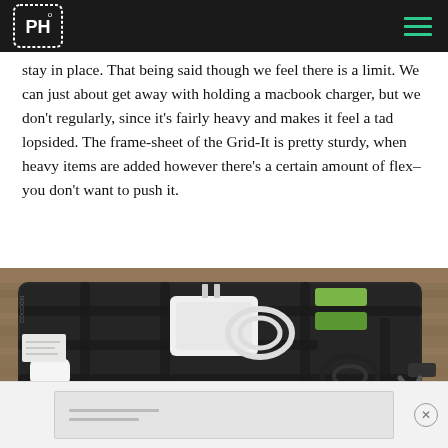PH logo and navigation
stay in place. That being said though we feel there is a limit. We can just about get away with holding a macbook charger, but we don't regularly, since it's fairly heavy and makes it feel a tad lopsided. The frame-sheet of the Grid-It is pretty sturdy, when heavy items are added however there's a certain amount of flex–you don't want to push it.
[Figure (photo): A Cocoon Grid-It organizer loaded with gadgets including a MacBook charger, cables, memory cards, and other accessories, sitting on a wooden surface. Branded GRID-IT visible in bottom right corner. Photo taken at an angle showing the elastic bands holding items in place.]